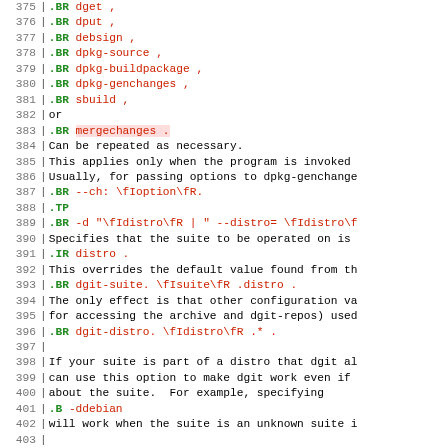Source code / man page content lines 375-405
375  | .BR dget ,
376  | .BR dput ,
377  | .BR debsign ,
378  | .BR dpkg-source ,
379  | .BR dpkg-buildpackage ,
380  | .BR dpkg-genchanges ,
381  | .BR sbuild ,
382  | or
383  | .BR mergechanges .
384  | Can be repeated as necessary.
385  | This applies only when the program is invoked
386  | Usually, for passing options to dpkg-genchange
387  | .BR --ch: \fIoption\fR.
388  | .TP
389  | .BR -d "\fIdistro\fR | " --distro= \fIdistro\f
390  | Specifies that the suite to be operated on is
391  | .IR distro .
392  | This overrides the default value found from th
393  | .BR dgit-suite. \fIsuite\fR .distro .
394  | The only effect is that other configuration va
395  | for accessing the archive and dgit-repos) used
396  | .BR dgit-distro. \fIdistro\fR .* .
397  |
398  | If your suite is part of a distro that dgit al
399  | can use this option to make dgit work even if
400  | about the suite.  For example, specifying
401  | .B -ddebian
402  | will work when the suite is an unknown suite i
403  |
404  | To define a new distro it is necessary to defi
405  | for fetching (and, for dgit push, altering) s